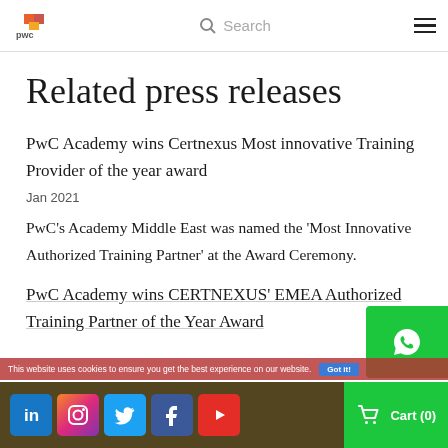PwC — Search navigation bar
Related press releases
PwC Academy wins Certnexus Most innovative Training Provider of the year award
Jan 2021
PwC's Academy Middle East was named the 'Most Innovative Authorized Training Partner' at the Award Ceremony.
PwC Academy wins CERTNEXUS' EMEA Authorized Training Partner of the Year Award